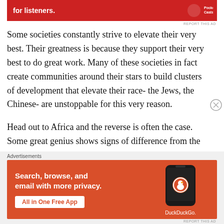[Figure (other): Red advertisement banner for Pocket Casts with text 'for listeners.']
Some societies constantly strive to elevate their very best. Their greatness is because they support their very best to do great work. Many of these societies in fact create communities around their stars to build clusters of development that elevate their race- the Jews, the Chinese- are unstoppable for this very reason.
Head out to Africa and the reverse is often the case. Some great genius shows signs of difference from the norm- he is labeled crazy. In the worst cases he is called a
[Figure (other): DuckDuckGo advertisement: 'Search, browse, and email with more privacy. All in One Free App' on orange background with phone graphic.]